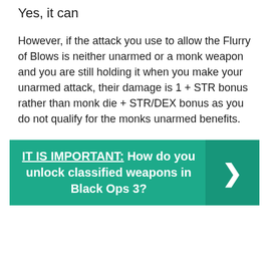Yes, it can
However, if the attack you use to allow the Flurry of Blows is neither unarmed or a monk weapon and you are still holding it when you make your unarmed attack, their damage is 1 + STR bonus rather than monk die + STR/DEX bonus as you do not qualify for the monks unarmed benefits.
[Figure (infographic): Teal banner with bold text: IT IS IMPORTANT: How do you unlock classified weapons in Black Ops 3? with a right-pointing arrow chevron on a darker teal background on the right side.]